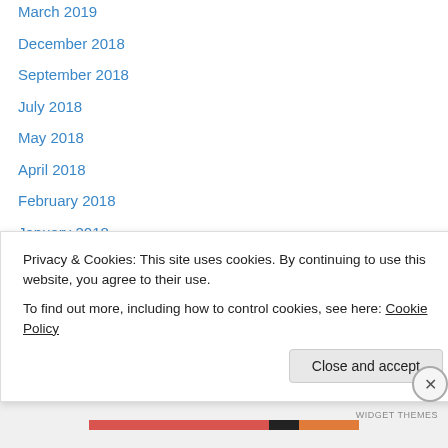March 2019
December 2018
September 2018
July 2018
May 2018
April 2018
February 2018
January 2018
November 2017
October 2017
September 2017
August 2017
July 2017
April 2017
Privacy & Cookies: This site uses cookies. By continuing to use this website, you agree to their use.
To find out more, including how to control cookies, see here: Cookie Policy
Close and accept